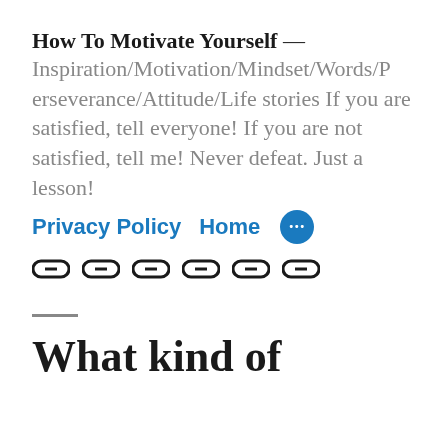How To Motivate Yourself
Inspiration/Motivation/Mindset/Words/Perseverance/Attitude/Life stories If you are satisfied, tell everyone! If you are not satisfied, tell me! Never defeat. Just a lesson!
Privacy Policy  Home  ···
[Figure (other): Six chain/link social media icons in a row]
What kind of